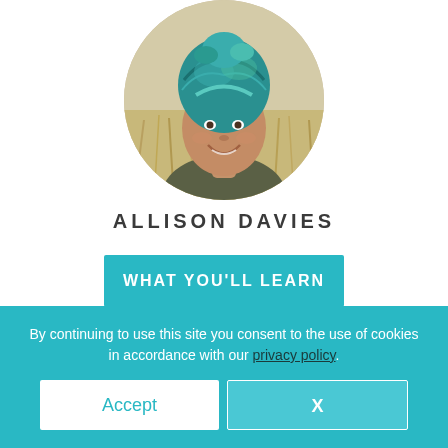[Figure (photo): Circular profile photo of a woman wearing a teal/green patterned head wrap, smiling, with a blurred outdoor/grass background]
ALLISON DAVIES
WHAT YOU'LL LEARN
By continuing to use this site you consent to the use of cookies in accordance with our privacy policy.
Accept
X